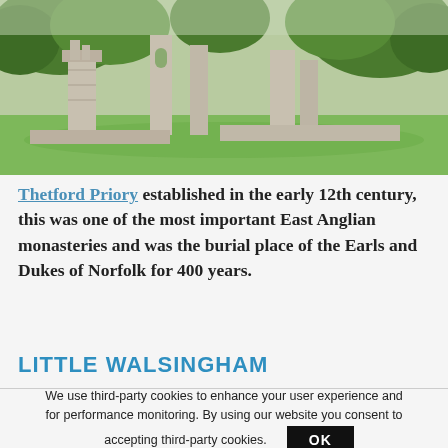[Figure (photo): Photograph of Thetford Priory ruins with stone walls against a backdrop of green trees and grass under a clear sky.]
Thetford Priory established in the early 12th century, this was one of the most important East Anglian monasteries and was the burial place of the Earls and Dukes of Norfolk for 400 years.
LITTLE WALSINGHAM
We use third-party cookies to enhance your user experience and for performance monitoring. By using our website you consent to accepting third-party cookies.